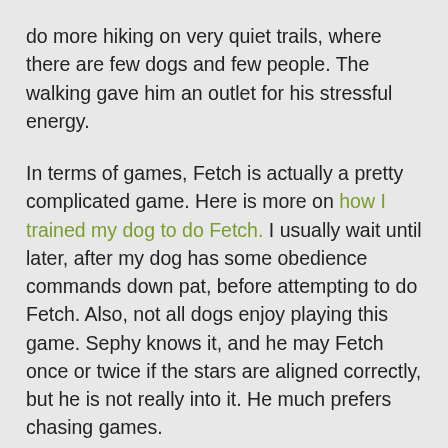do more hiking on very quiet trails, where there are few dogs and few people. The walking gave him an outlet for his stressful energy.
In terms of games, Fetch is actually a pretty complicated game. Here is more on how I trained my dog to do Fetch. I usually wait until later, after my dog has some obedience commands down pat, before attempting to do Fetch. Also, not all dogs enjoy playing this game. Sephy knows it, and he may Fetch once or twice if the stars are aligned correctly, but he is not really into it. He much prefers chasing games.
With my dogs, I first spend some time observing them. The key is to understand what things motivate them – what type of food, what type of chews, what type of activity, etc. Once I find a few things that really gets them